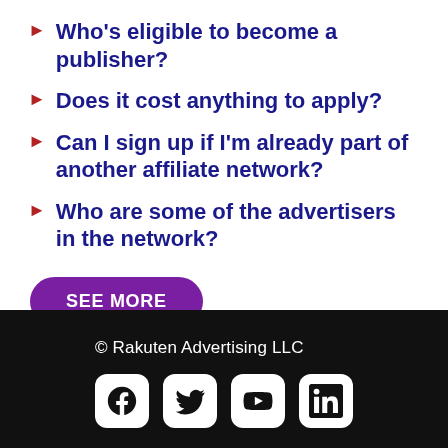Who's eligible to become a publisher?
Does it cost anything to apply?
Can I sign up if I'm already part of another affiliate network?
Who are some of the advertisers in the network?
SEE MORE
© Rakuten Advertising LLC